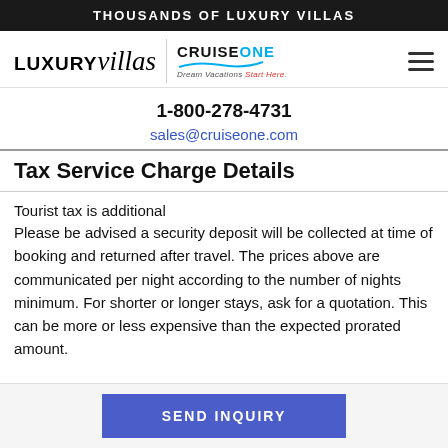THOUSANDS OF LUXURY VILLAS
[Figure (logo): LUXURYvillas | CruiseONE Dream Vacations Start Here logo with hamburger menu icon]
1-800-278-4731
sales@cruiseone.com
Tax Service Charge Details
Tourist tax is additional
Please be advised a security deposit will be collected at time of booking and returned after travel. The prices above are communicated per night according to the number of nights minimum. For shorter or longer stays, ask for a quotation. This can be more or less expensive than the expected prorated amount.
SEND INQUIRY